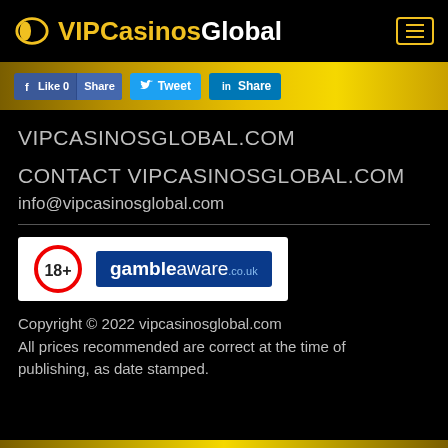VIPCasinosGlobal
[Figure (screenshot): Social media share buttons: Facebook Like 0, Share, Twitter Tweet, LinkedIn Share on a gold gradient background]
VIPCASINOSGLOBAL.COM
CONTACT VIPCASINOSGLOBAL.COM
info@vipcasinosglobal.com
[Figure (logo): 18+ age restriction badge and gambleaware.co.uk logo on white background]
Copyright © 2022 vipcasinosglobal.com
All prices recommended are correct at the time of publishing, as date stamped.